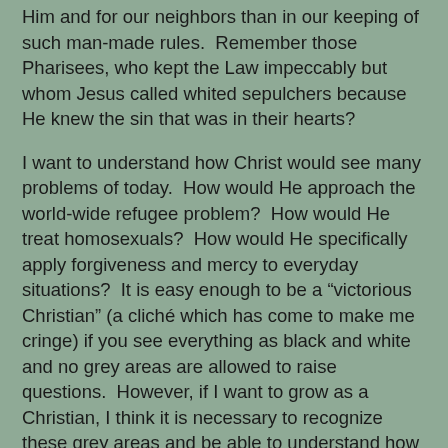Him and for our neighbors than in our keeping of such man-made rules.  Remember those Pharisees, who kept the Law impeccably but whom Jesus called whited sepulchers because He knew the sin that was in their hearts?
I want to understand how Christ would see many problems of today.  How would He approach the world-wide refugee problem?  How would He treat homosexuals?  How would He specifically apply forgiveness and mercy to everyday situations?  It is easy enough to be a “victorious Christian” (a cliché which has come to make me cringe) if you see everything as black and white and no grey areas are allowed to raise questions.  However, if I want to grow as a Christian, I think it is necessary to recognize these grey areas and be able to understand how God’s love transcends every circumstance.  Either God is sufficient for every situation in life, or He is a sham.  Either Christ is Lord of all, or He is nothing.
I want to go back to my Bible and try to focus on what Christ meant when He told people to follow Him.  I don’t think we are